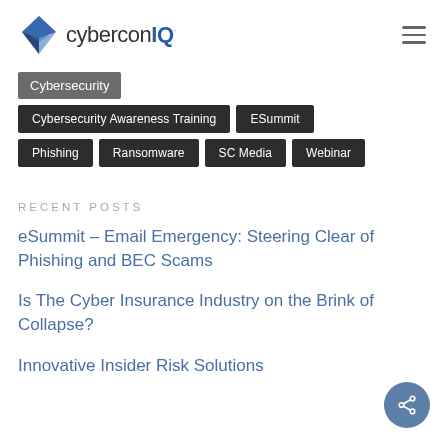cyberconIQ
Cybersecurity
Cybersecurity Awareness Training
ESummit
Phishing
Ransomware
SC Media
Webinar
RECENT POSTS
eSummit – Email Emergency: Steering Clear of Phishing and BEC Scams
Is The Cyber Insurance Industry on the Brink of Collapse?
Innovative Insider Risk Solutions